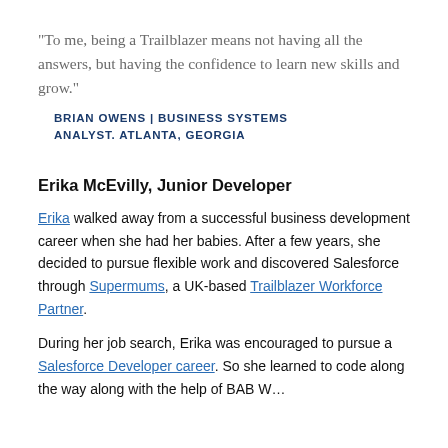“To me, being a Trailblazer means not having all the answers, but having the confidence to learn new skills and grow.”
BRIAN OWENS | BUSINESS SYSTEMS ANALYST. ATLANTA, GEORGIA
Erika McEvilly, Junior Developer
Erika walked away from a successful business development career when she had her babies. After a few years, she decided to pursue flexible work and discovered Salesforce through Supermums, a UK-based Trailblazer Workforce Partner.
During her job search, Erika was encouraged to pursue a Salesforce Developer career. So she learned to code along the way along with the help of BAB W...